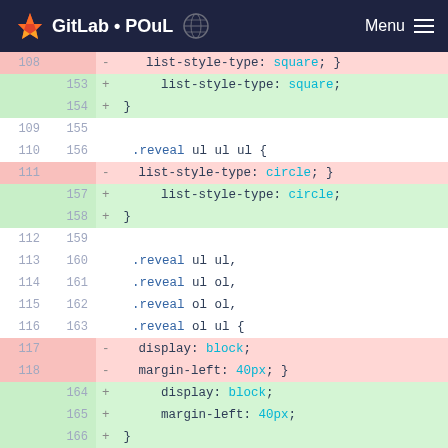GitLab • POuL  Menu
[Figure (screenshot): GitLab diff view showing CSS code changes. Removed lines (red background) show old code with list-style-type: square, list-style-type: circle, display: block, margin-left: 40px, font-weight: bold. Added lines (green background) show new/reformatted equivalents splitting closing brace onto separate lines.]